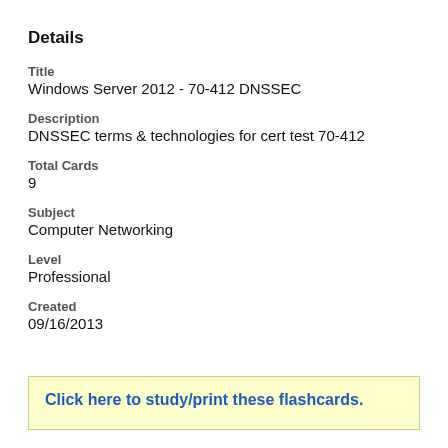Details
Title
Windows Server 2012 - 70-412 DNSSEC
Description
DNSSEC terms & technologies for cert test 70-412
Total Cards
9
Subject
Computer Networking
Level
Professional
Created
09/16/2013
Click here to study/print these flashcards.